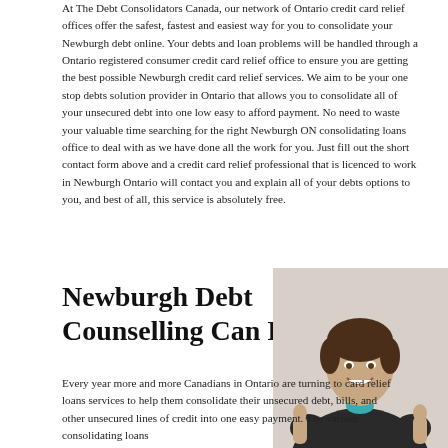At The Debt Consolidators Canada, our network of Ontario credit card relief offices offer the safest, fastest and easiest way for you to consolidate your Newburgh debt online. Your debts and loan problems will be handled through a Ontario registered consumer credit card relief office to ensure you are getting the best possible Newburgh credit card relief services. We aim to be your one stop debts solution provider in Ontario that allows you to consolidate all of your unsecured debt into one low easy to afford payment. No need to waste your valuable time searching for the right Newburgh ON consolidating loans office to deal with as we have done all the work for you. Just fill out the short contact form above and a credit card relief professional that is licenced to work in Newburgh Ontario will contact you and explain all of your debts options to you, and best of all, this service is absolutely free.
Newburgh Debt Counselling Can Help
[Figure (photo): A woman in a dark blazer giving two thumbs up and smiling]
Every year more and more Canadians in Ontario are turning to card relief loans services to help them consolidate their unsecured debt, bills, and other unsecured lines of credit into one easy payment. The various consolidating loans...